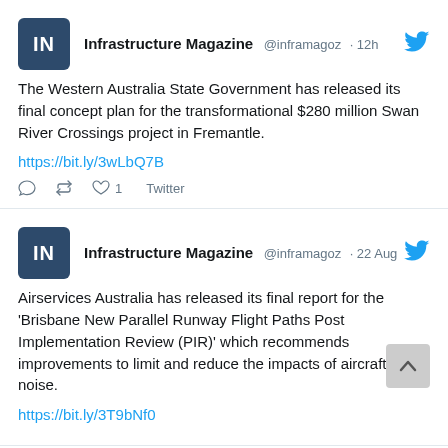[Figure (screenshot): Tweet from Infrastructure Magazine (@inframagoz) posted 12h ago. Tweet text: The Western Australia State Government has released its final concept plan for the transformational $280 million Swan River Crossings project in Fremantle. Link: https://bit.ly/3wLbQ7B. Actions: reply, retweet, 1 like, Twitter label.]
[Figure (screenshot): Tweet from Infrastructure Magazine (@inframagoz) posted 22 Aug. Tweet text: Airservices Australia has released its final report for the 'Brisbane New Parallel Runway Flight Paths Post Implementation Review (PIR)' which recommends improvements to limit and reduce the impacts of aircraft noise. Link: https://bit.ly/3T9bNf0.]